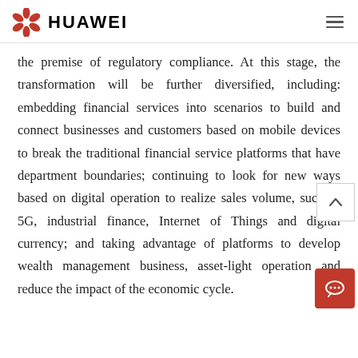HUAWEI
the premise of regulatory compliance. At this stage, the transformation will be further diversified, including: embedding financial services into scenarios to build and connect businesses and customers based on mobile devices to break the traditional financial service platforms that have department boundaries; continuing to look for new ways based on digital operation to realize sales volume, such as 5G, industrial finance, Internet of Things and digital currency; and taking advantage of platforms to develop wealth management business, asset-light operation and reduce the impact of the economic cycle.